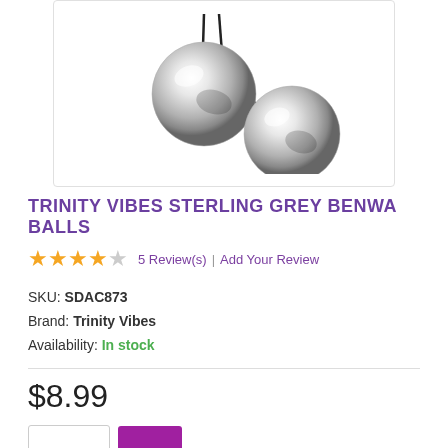[Figure (photo): Two silver/chrome metallic balls (benwa balls) connected by a black cord, shown on white background]
TRINITY VIBES STERLING GREY BENWA BALLS
★★★★☆ 5 Review(s) | Add Your Review
SKU: SDAC873
Brand: Trinity Vibes
Availability: In stock
$8.99